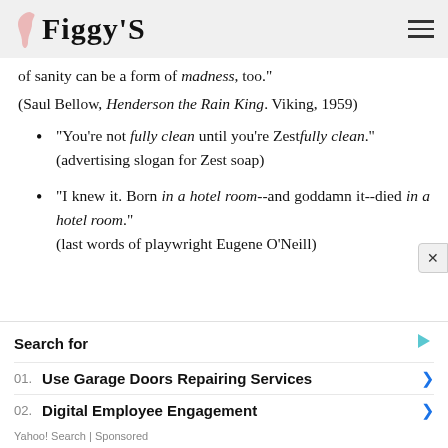Figgy'S
of sanity can be a form of madness, too."
(Saul Bellow, Henderson the Rain King. Viking, 1959)
"You're not fully clean until you're Zestfully clean."
(advertising slogan for Zest soap)
"I knew it. Born in a hotel room--and goddamn it--died in a hotel room."
(last words of playwright Eugene O'Neill)
Search for
01. Use Garage Doors Repairing Services
02. Digital Employee Engagement
Yahoo! Search | Sponsored